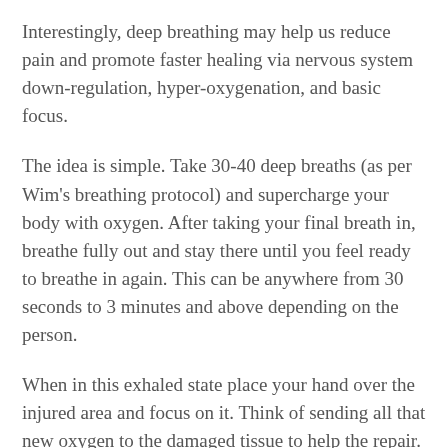Interestingly, deep breathing may help us reduce pain and promote faster healing via nervous system down-regulation, hyper-oxygenation, and basic focus.
The idea is simple. Take 30-40 deep breaths (as per Wim's breathing protocol) and supercharge your body with oxygen. After taking your final breath in, breathe fully out and stay there until you feel ready to breathe in again. This can be anywhere from 30 seconds to 3 minutes and above depending on the person.
When in this exhaled state place your hand over the injured area and focus on it. Think of sending all that new oxygen to the damaged tissue to help the repair. After literally a few seconds you may start to feel the area